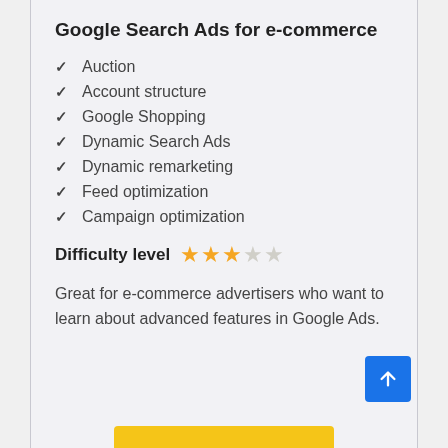Google Search Ads for e-commerce
Auction
Account structure
Google Shopping
Dynamic Search Ads
Dynamic remarketing
Feed optimization
Campaign optimization
Difficulty level ★★★☆☆
Great for e-commerce advertisers who want to learn about advanced features in Google Ads.